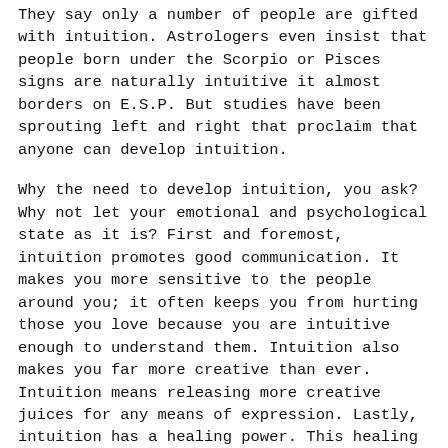They say only a number of people are gifted with intuition. Astrologers even insist that people born under the Scorpio or Pisces signs are naturally intuitive it almost borders on E.S.P. But studies have been sprouting left and right that proclaim that anyone can develop intuition.
Why the need to develop intuition, you ask? Why not let your emotional and psychological state as it is? First and foremost, intuition promotes good communication. It makes you more sensitive to the people around you; it often keeps you from hurting those you love because you are intuitive enough to understand them. Intuition also makes you far more creative than ever. Intuition means releasing more creative juices for any means of expression. Lastly, intuition has a healing power. This healing power is not in the physical sense, but in delving deep into your soul to eradicate some negative energy buried in it.
With that being said, are you ready to develop your intuition? Here are some ways to unlock this gift: